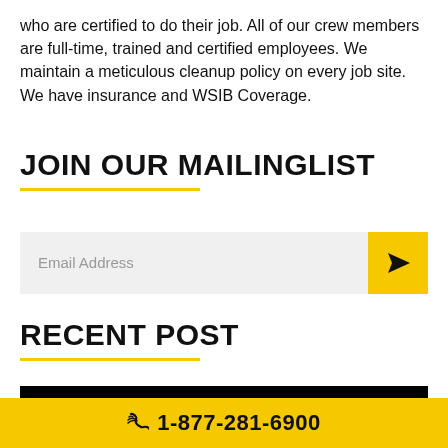who are certified to do their job. All of our crew members are full-time, trained and certified employees. We maintain a meticulous cleanup policy on every job site. We have insurance and WSIB Coverage.
JOIN OUR MAILINGLIST
[Figure (screenshot): Email address input field with yellow send button on the right]
RECENT POST
[Figure (photo): Dark/black image with a yellow star visible at the bottom left]
📞 1-877-281-6900